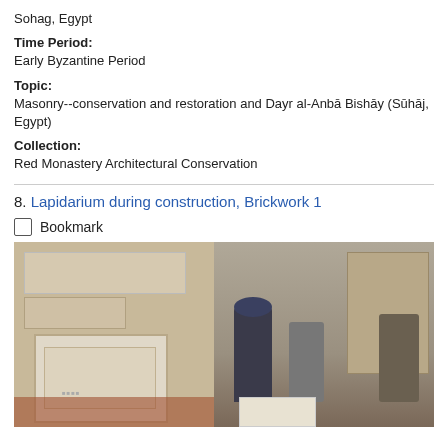Sohag, Egypt
Time Period:
Early Byzantine Period
Topic:
Masonry--conservation and restoration and Dayr al-Anbā Bishāy (Sūhāj, Egypt)
Collection:
Red Monastery Architectural Conservation
8. Lapidarium during construction, Brickwork 1
Bookmark
[Figure (photo): Two-panel photograph showing lapidarium during construction: left panel shows stone slabs and blocks arranged in a storage area with brick floor; right panel shows workers handling white stone blocks outdoors near an ancient monastery building.]